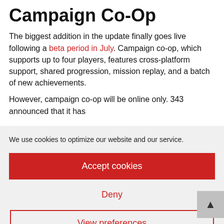Campaign Co-Op
The biggest addition in the update finally goes live following a beta period in July. Campaign co-op, which supports up to four players, features cross-platform support, shared progression, mission replay, and a batch of new achievements.
However, campaign co-op will be online only. 343 announced that it has
We use cookies to optimize our website and our service.
Accept cookies
Deny
View preferences
Cookie Policy   Privacy policy